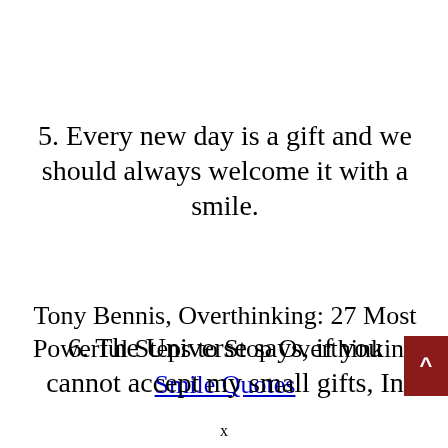5. Every new day is a gift and we should always welcome it with a smile.
Tony Bennis, Overthinking: 27 Most Powerful Steps to Stop Overthinking
Smile Quotes
6. The Universe says, if you cannot accept my small gifts, In